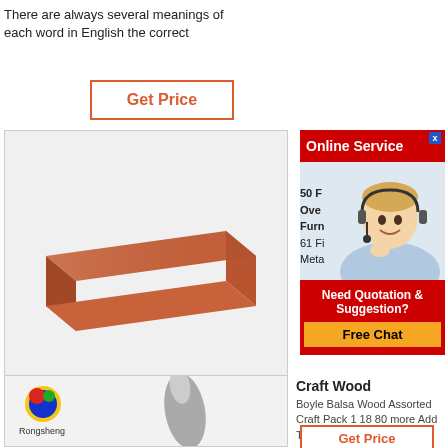There are always several meanings of each word in English the correct
Get Price
[Figure (photo): A single red-brown clay brick on a light gray/white background]
[Figure (infographic): Online Service banner with red header, customer service agent photo (blonde woman with headset), partial text '50 F', 'Ove', 'Furn', '61 Fi', 'Meta', and 'Need Quotation & Suggestion?' with Free Chat button]
50 F
Ove
Furn
61 Fi
Meta
Need Quotation & Suggestion?
Free Chat
[Figure (photo): Rongsheng logo (colorful balloon-like sphere) with company name, and a gray tapered/bullet shaped object on light background]
Craft Wood
Boyle Balsa Wood Assorted Craft Pack 1 18 80 more Add To
Get Price